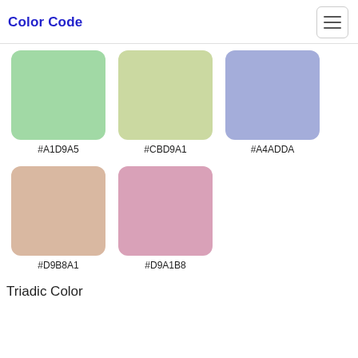Color Code
[Figure (infographic): Five color swatches arranged in two rows: row 1 has #A1D9A5 (green), #CBD9A1 (yellow-green), #A4ADDA (periwinkle blue); row 2 has #D9B8A1 (tan/beige), #D9A1B8 (pink/mauve). Each swatch is a rounded rectangle with hex code label below.]
Triadic Color